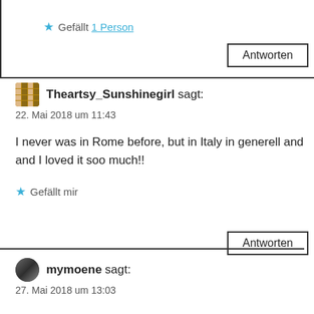★ Gefällt 1 Person
Antworten
Theartsy_Sunshinegirl sagt:
22. Mai 2018 um 11:43
I never was in Rome before, but in Italy in generell and and I loved it soo much!!
★ Gefällt mir
Antworten
mymoene sagt:
27. Mai 2018 um 13:03